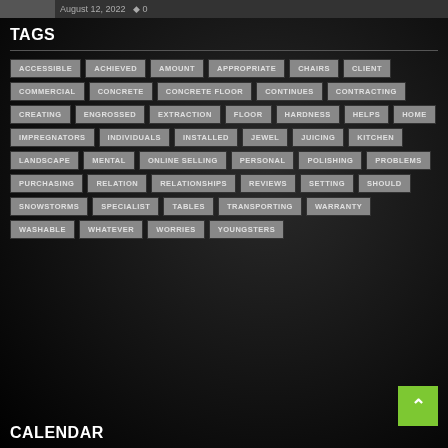August 12, 2022  0
TAGS
ACCESSIBLE
ACHIEVED
AMOUNT
APPROPRIATE
CHAIRS
CLIENT
COMMERCIAL
CONCRETE
CONCRETE FLOOR
CONTINUES
CONTRACTING
CREATING
ENGROSSED
EXTRACTION
FLOOR
HARDNESS
HELPS
HOME
IMPREGNATORS
INDIVIDUALS
INSTALLED
JEWEL
JUICING
KITCHEN
LANDSCAPE
MENTAL
ONLINE SELLING
PERSONAL
POLISHING
PROBLEMS
PURCHASING
RELATION
RELATIONSHIPS
REVIEWS
SETTING
SHOULD
SNOWSTORMS
SPECIALIST
TABLES
TRANSPORTING
WARRANTY
WASHABLE
WHATEVER
WORRIES
YOUNGSTERS
CALENDAR